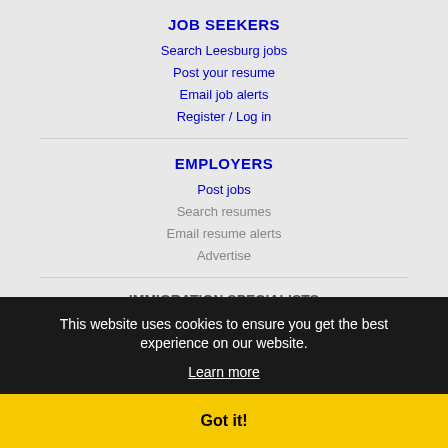JOB SEEKERS
Search Leesburg jobs
Post your resume
Email job alerts
Register / Log in
EMPLOYERS
Post jobs
Search resumes
Email resume alerts
Advertise
IMMIGRATION SPECIALISTS
Post jobs
Immigration FAOs
Learn more
This website uses cookies to ensure you get the best experience on our website.
Learn more
Got it!